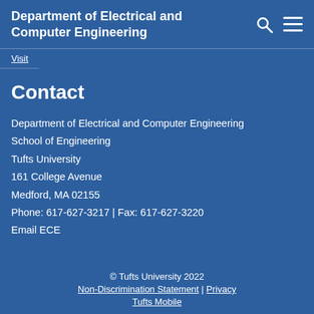Department of Electrical and Computer Engineering
Visit
Contact
Department of Electrical and Computer Engineering
School of Engineering
Tufts University
161 College Avenue
Medford, MA 02155
Phone: 617-627-3217 | Fax: 617-627-3220
Email ECE
© Tufts University 2022
Non-Discrimination Statement | Privacy
Tufts Mobile